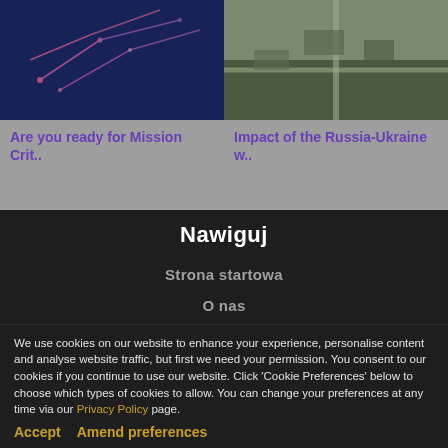[Figure (photo): Dark blue map with pink/red network lines overlay - Mission Critical article thumbnail]
Are you ready for Mission Crit..
[Figure (photo): Aerial photo of urban area - Russia-Ukraine war impact article thumbnail]
Impact of the Russia-Ukraine w..
Nawiguj
Strona startowa
O nas
Nasi Ludzie
We use cookies on our website to enhance your experience, personalise content and analyse website traffic, but first we need your permission. You consent to our cookies if you continue to use our website. Click 'Cookie Preferences' below to choose which types of cookies to allow. You can change your preferences at any time via our Privacy Policy page.
Accept    Amend preferences